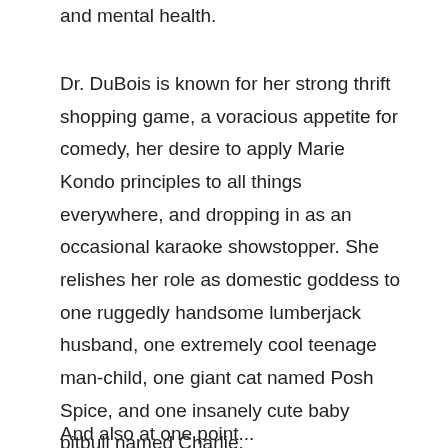and mental health.
Dr. DuBois is known for her strong thrift shopping game, a voracious appetite for comedy, her desire to apply Marie Kondo principles to all things everywhere, and dropping in as an occasional karaoke showstopper. She relishes her role as domestic goddess to one ruggedly handsome lumberjack husband, one extremely cool teenage man-child, one giant cat named Posh Spice, and one insanely cute baby pitbull named Charlie.
And also at one point...